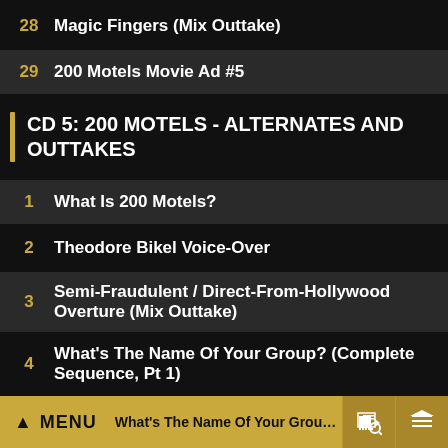28   Magic Fingers (Mix Outtake)
29   200 Motels Movie Ad #5
CD 5: 200 MOTELS - ALTERNATES AND OUTTAKES
1   What Is 200 Motels?
2   Theodore Bikel Voice-Over
3   Semi-Fraudulent / Direct-From-Hollywood Overture (Mix Outtake)
4   What's The Name Of Your Group? (Complete Sequence, Pt 1)
5   What's The Name Of Your Group? (Complete Sequence, Pt 2)
MENU   What's The Name Of Your Group? (Comp   6